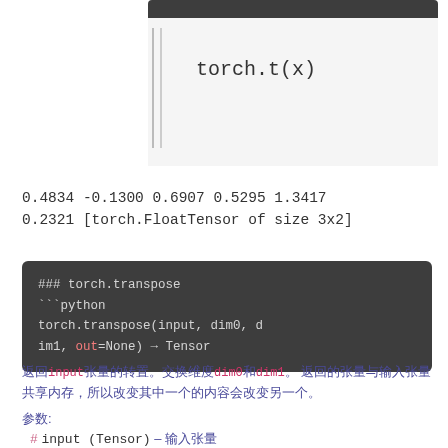torch.t(x)
0.4834 -0.1300 0.6907 0.5295 1.3417
0.2321 [torch.FloatTensor of size 3x2]
### torch.transpose
```python
torch.transpose(input, dim0, dim1, out=None) → Tensor
返回input张量的转置。交换维度dim0和dim1。 返回的张量与输入张量共享内存，所以改变其中一个的内容会改变另一个。
参数:
# input (Tensor) – 输入张量